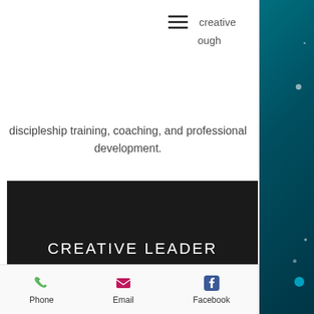creative
ough
discipleship training, coaching, and professional development.
[Figure (logo): Black rectangle with white text reading CREATIVE LEADER ALLIANCE]
[Figure (photo): Silver/grey blurred gradient strip below logo box]
[Figure (other): Teal/dark teal bokeh background sidebar on right side of page]
Phone
Email
Facebook